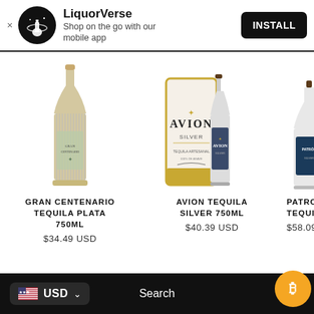[Figure (screenshot): LiquorVerse app install banner with logo, app name, tagline, and INSTALL button]
[Figure (photo): Gran Centenario Tequila Plata 750ML bottle product image]
GRAN CENTENARIO TEQUILA PLATA 750ML
$34.49 USD
[Figure (photo): Avion Tequila Silver 750ML bottle with box product image]
AVION TEQUILA SILVER 750ML
$40.39 USD
[Figure (photo): Patron Tequila bottle partially visible]
PATRON TEQUILA ...
$58.09
USD
Search